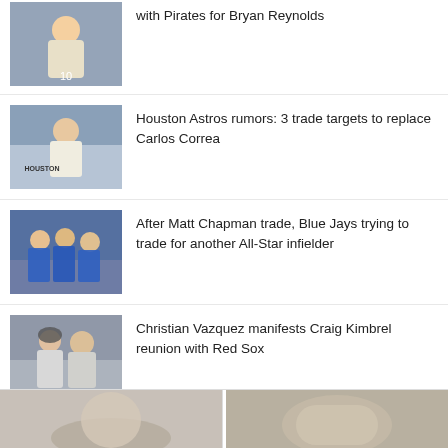with Pirates for Bryan Reynolds
[Figure (photo): Baseball player wearing number 10 jersey]
Houston Astros rumors: 3 trade targets to replace Carlos Correa
[Figure (photo): Houston Astros player in white uniform]
After Matt Chapman trade, Blue Jays trying to trade for another All-Star infielder
[Figure (photo): Toronto Blue Jays players on field in blue uniforms]
Christian Vazquez manifests Craig Kimbrel reunion with Red Sox
[Figure (photo): Two Red Sox players including catcher]
[Figure (photo): Bottom strip left image - baseball related]
[Figure (photo): Bottom strip right image - baseball related]